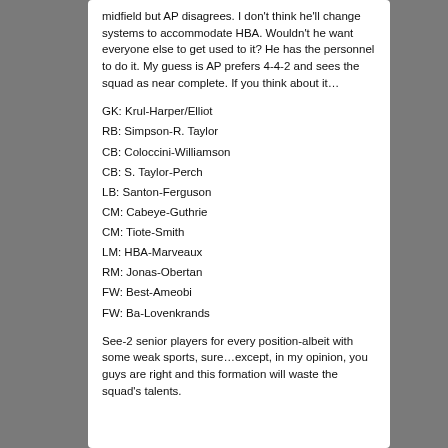midfield but AP disagrees. I don't think he'll change systems to accommodate HBA. Wouldn't he want everyone else to get used to it? He has the personnel to do it. My guess is AP prefers 4-4-2 and sees the squad as near complete. If you think about it…
GK: Krul-Harper/Elliot
RB: Simpson-R. Taylor
CB: Coloccini-Williamson
CB: S. Taylor-Perch
LB: Santon-Ferguson
CM: Cabeye-Guthrie
CM: Tiote-Smith
LM: HBA-Marveaux
RM: Jonas-Obertan
FW: Best-Ameobi
FW: Ba-Lovenkrands
See-2 senior players for every position-albeit with some weak sports, sure…except, in my opinion, you guys are right and this formation will waste the squad's talents.